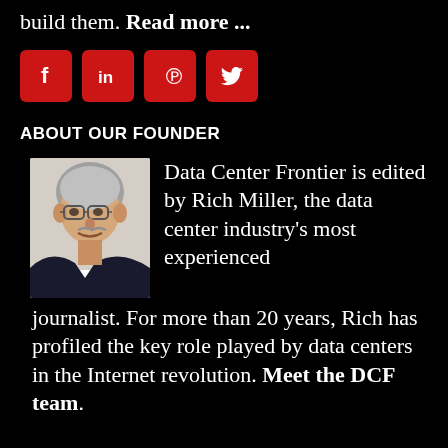build them. Read more ...
[Figure (other): Four red social media icon buttons: Facebook (f), LinkedIn (in), Pinterest (P), Twitter (bird)]
ABOUT OUR FOUNDER
[Figure (photo): Headshot of Rich Miller, a man with gray hair and glasses wearing a dark suit jacket]
Data Center Frontier is edited by Rich Miller, the data center industry's most experienced journalist. For more than 20 years, Rich has profiled the key role played by data centers in the Internet revolution. Meet the DCF team.